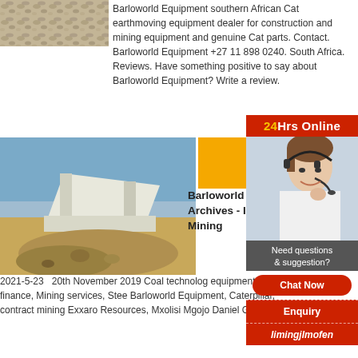[Figure (photo): Gravel or crushed stone material photograph]
Barloworld Equipment southern African Cat earthmoving equipment dealer for construction and mining equipment and genuine Cat parts. Contact. Barloworld Equipment +27 11 898 0240. South Africa. Reviews. Have something positive to say about Barloworld Equipment? Write a review.
[Figure (photo): Large industrial mining/crushing machine with a pile of rocks]
Barloworld E Archives - In Mining
2021-5-23   20th November 2019 Coal technolog equipment, Mining finance, Mining services, Stee Barloworld Equipment, Caterpillar, contract mining Exxaro Resources, Mxolisi Mgojo Daniel Gleeson
[Figure (photo): 24Hrs Online sidebar with woman wearing headset, customer support representative smiling]
Need questions & suggestion?
Chat Now
Enquiry
limingjlmofen